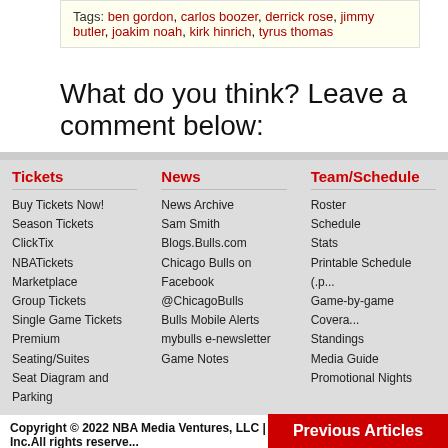Tags: ben gordon, carlos boozer, derrick rose, jimmy butler, joakim noah, kirk hinrich, tyrus thomas
What do you think? Leave a comment below:
Tickets: Buy Tickets Now!, Season Tickets, ClickTix, NBATickets Marketplace, Group Tickets, Single Game Tickets, Premium Seating/Suites, Seat Diagram and Parking
News: News Archive, Sam Smith, Blogs.Bulls.com, Chicago Bulls on Facebook, @ChicagoBulls, Bulls Mobile Alerts, mybulls e-newsletter, Game Notes
Team/Schedule: Roster, Schedule, Stats, Printable Schedule (.p..., Game-by-game Covera..., Standings, Media Guide, Promotional Nights
Copyright © 2022 NBA Media Ventures, LLC | Turner Sports Interactive, Inc.All rights reserved. information beyond this page, you agree to abide by the NBA.com Privacy Policy / Your Cali...
NBA.COM is part of the Turner Sports and Entertainment Digital Network. Advertise on N...